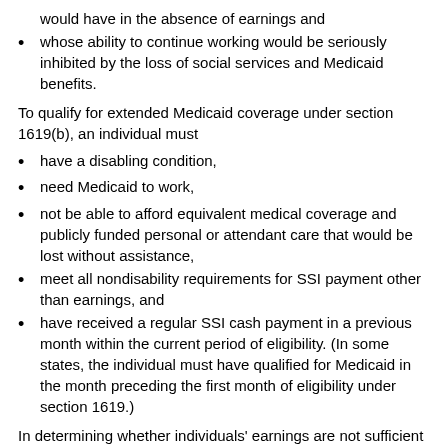would have in the absence of earnings and
whose ability to continue working would be seriously inhibited by the loss of social services and Medicaid benefits.
To qualify for extended Medicaid coverage under section 1619(b), an individual must
have a disabling condition,
need Medicaid to work,
not be able to afford equivalent medical coverage and publicly funded personal or attendant care that would be lost without assistance,
meet all nondisability requirements for SSI payment other than earnings, and
have received a regular SSI cash payment in a previous month within the current period of eligibility. (In some states, the individual must have qualified for Medicaid in the month preceding the first month of eligibility under section 1619.)
In determining whether individuals' earnings are not sufficient to provide them with the equivalent benefits they would be eligible